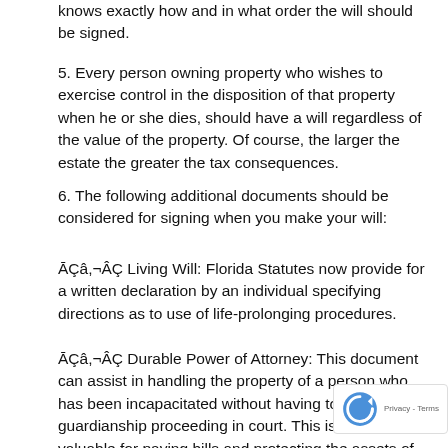knows exactly how and in what order the will should be signed.
5. Every person owning property who wishes to exercise control in the disposition of that property when he or she dies, should have a will regardless of the value of the property. Of course, the larger the estate the greater the tax consequences.
6. The following additional documents should be considered for signing when you make your will:
ĀÇâ,¬ÂÇ Living Will: Florida Statutes now provide for a written declaration by an individual specifying directions as to use of life-prolonging procedures.
ĀÇâ,¬ÂÇ Durable Power of Attorney: This document can assist in handling the property of a person who has been incapacitated without having to open a guardianship proceeding in court. This is especially valuable for paying bills and protecting the assets of an incapacitated person.